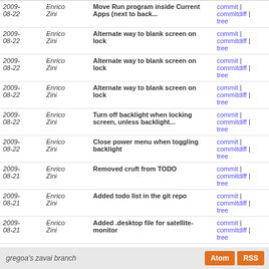| Date | Author | Message | Links |
| --- | --- | --- | --- |
| 2009-08-22 | Enrico Zini | Move Run program inside Current Apps (next to back... | commit | commitdiff | tree |
| 2009-08-22 | Enrico Zini | Alternate way to blank screen on lock | commit | commitdiff | tree |
| 2009-08-22 | Enrico Zini | Alternate way to blank screen on lock | commit | commitdiff | tree |
| 2009-08-22 | Enrico Zini | Alternate way to blank screen on lock | commit | commitdiff | tree |
| 2009-08-22 | Enrico Zini | Turn off backlight when locking screen, unless backlight... | commit | commitdiff | tree |
| 2009-08-22 | Enrico Zini | Close power menu when toggling backlight | commit | commitdiff | tree |
| 2009-08-21 | Enrico Zini | Removed cruft from TODO | commit | commitdiff | tree |
| 2009-08-21 | Enrico Zini | Added todo list in the git repo | commit | commitdiff | tree |
| 2009-08-21 | Enrico Zini | Added .desktop file for satellite-monitor | commit | commitdiff | tree |
| 2009-08-21 | Enrico Zini | Added dbus config | commit | commitdiff | tree |
| 2009-08-19 | Enrico Zini | Even more debugging | commit | commitdiff | tree |
next
gregoa's zavai branch